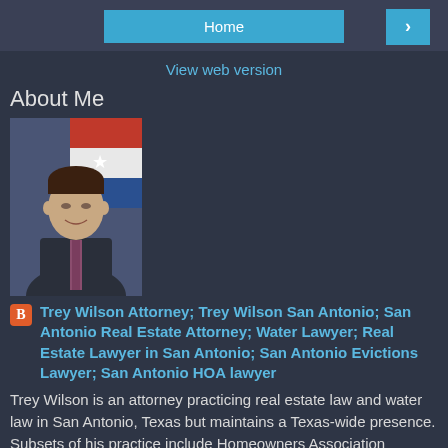Home  >
View web version
About Me
[Figure (photo): Professional headshot of Trey Wilson in a suit with a Texas flag in the background]
Trey Wilson Attorney; Trey Wilson San Antonio; San Antonio Real Estate Attorney; Water Lawyer; Real Estate Lawyer in San Antonio; San Antonio Evictions Lawyer; San Antonio HOA lawyer
Trey Wilson is an attorney practicing real estate law and water law in San Antonio, Texas but maintains a Texas-wide presence. Subsets of his practice include Homeowners Association litigation, easement and land-lock litigation and evictions. Wilson is a native San Antonian and graduate of Central Catholic High School. He holds a Bachelor of Arts degree from the University of Texas at Austin, and a Juris Doctorate from St. Mary's School of Law. Wilson was admitte